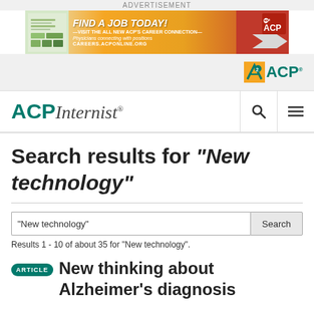ADVERTISEMENT
[Figure (other): ACP Career Connection advertisement banner: Find a Job Today! Visit the All New ACP's Career Connection. Physicians connecting with positions. CAREERS.ACPONLINE.ORG]
[Figure (logo): ACP logo in navigation header]
ACP Internist
Search results for "New technology"
Results 1 - 10 of about 35 for "New technology".
ARTICLE  New thinking about Alzheimer's diagnosis